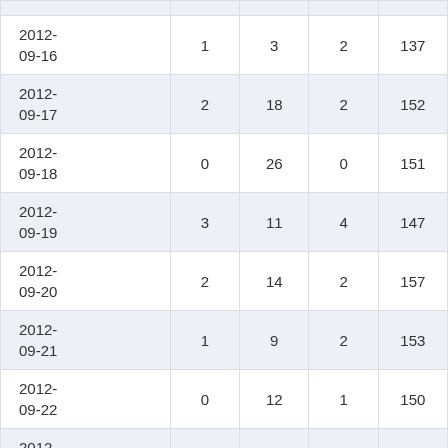| date | col1 | col2 | col3 | col4 |
| --- | --- | --- | --- | --- |
| 2012-09-16 | 1 | 3 | 2 | 137 |
| 2012-09-17 | 2 | 18 | 2 | 152 |
| 2012-09-18 | 0 | 26 | 0 | 151 |
| 2012-09-19 | 3 | 11 | 4 | 147 |
| 2012-09-20 | 2 | 14 | 2 | 157 |
| 2012-09-21 | 1 | 9 | 2 | 153 |
| 2012-09-22 | 0 | 12 | 1 | 150 |
| 2012-09-23 | 1 | 8 | 0 | 154 |
| 2012-09-24 | 2 | 26 | 2 | 168 |
| 2012-09-25 | 1 | 13 | 0 | 148 |
| 2012-09-26 | 0 | 23 | 6 | 162 |